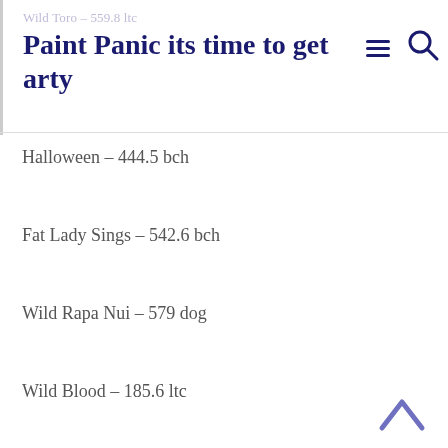Wild Toro – 559.8 ltc
Paint Panic its time to get arty
Halloween – 444.5 bch
Fat Lady Sings – 542.6 bch
Wild Rapa Nui – 579 dog
Wild Blood – 185.6 ltc
Keks – 225.1 usdt